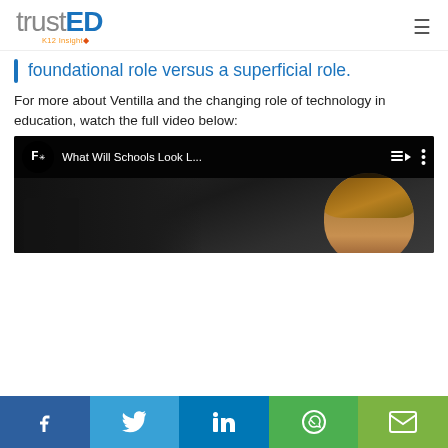trustED K12 Insight
foundational role versus a superficial role.
For more about Ventilla and the changing role of technology in education, watch the full video below:
[Figure (screenshot): YouTube video thumbnail titled 'What Will Schools Look L...' with a child's face visible in the video preview]
Social share bar: Facebook, Twitter, LinkedIn, WhatsApp, Email